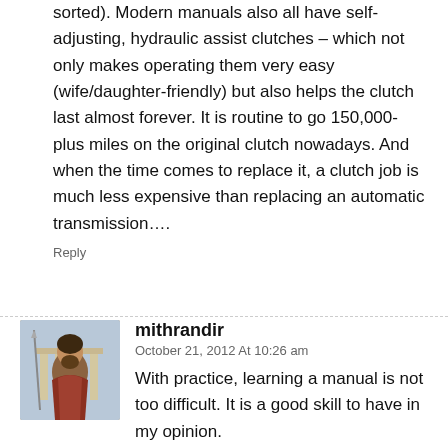sorted). Modern manuals also all have self-adjusting, hydraulic assist clutches – which not only makes operating them very easy (wife/daughter-friendly) but also helps the clutch last almost forever. It is routine to go 150,000-plus miles on the original clutch nowadays. And when the time comes to replace it, a clutch job is much less expensive than replacing an automatic transmission….
Reply
mithrandir
October 21, 2012 At 10:26 am
With practice, learning a manual is not too difficult. It is a good skill to have in my opinion.
Reply